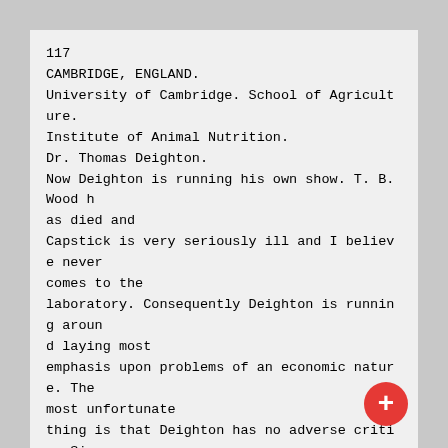117
CAMBRIDGE, ENGLAND.
University of Cambridge. School of Agriculture.
Institute of Animal Nutrition.
Dr. Thomas Deighton.
Now Deighton is running his own show. T. B. Wood has died and Capstick is very seriously ill and I believe never comes to the laboratory. Consequently Deighton is running around laying most emphasis upon problems of an economic nature. The most unfortunate thing is that Deighton has no adverse critic. Since my last visit here he had been empowered by the authorities to take a trip to the Continent and I found that he had visited Fingerling, Mj^llgaard, and Lefèvre, and I am not sure about Zurich and Berlin. He had had no experience in indirect calorimetry but had made th